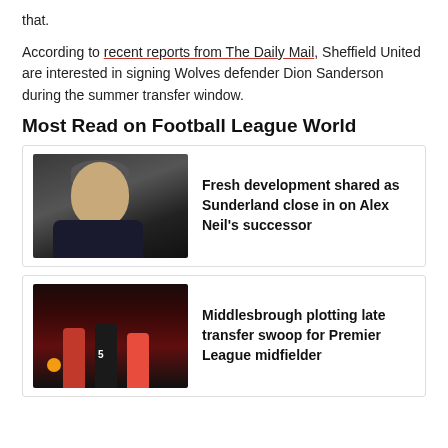that.
According to recent reports from The Daily Mail, Sheffield United are interested in signing Wolves defender Dion Sanderson during the summer transfer window.
Most Read on Football League World
[Figure (photo): Photo of a man (manager/coach) in a dark jacket on a football pitch]
Fresh development shared as Sunderland close in on Alex Neil's successor
[Figure (photo): Photo of football players in a match action scene, one wearing number 5]
Middlesbrough plotting late transfer swoop for Premier League midfielder